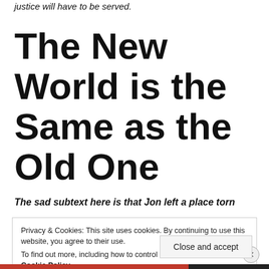justice will have to be served.
The New World is the Same as the Old One
The sad subtext here is that Jon left a place torn
Privacy & Cookies: This site uses cookies. By continuing to use this website, you agree to their use.
To find out more, including how to control cookies, see here:
Cookie Policy
Close and accept